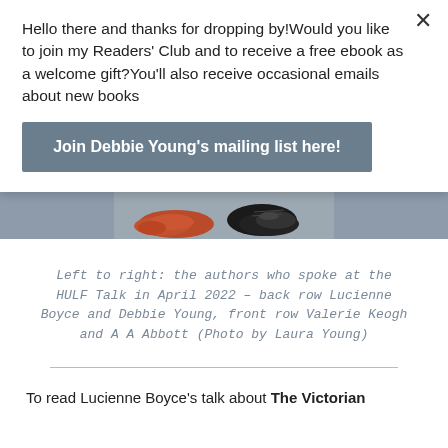Hello there and thanks for dropping by!Would you like to join my Readers' Club and to receive a free ebook as a welcome gift?You'll also receive occasional emails about new books
Join Debbie Young's mailing list here!
[Figure (photo): Close-up photo of feet/shoes on a grey surface: red/orange flat shoes on the left and black lace-up boots on the right]
Left to right: the authors who spoke at the HULF Talk in April 2022 – back row Lucienne Boyce and Debbie Young, front row Valerie Keogh and A A Abbott (Photo by Laura Young)
To read Lucienne Boyce's talk about The Victorian